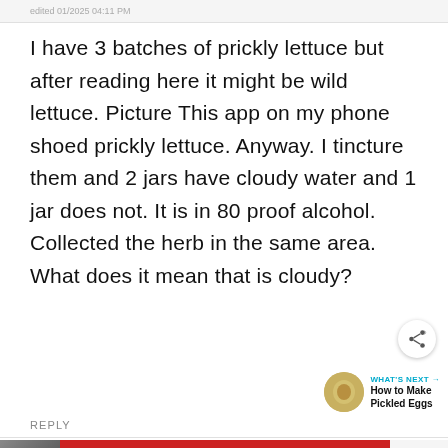edited 01/2025 04:11 PM
I have 3 batches of prickly lettuce but after reading here it might be wild lettuce. Picture This app on my phone shoed prickly lettuce. Anyway. I tincture them and 2 jars have cloudy water and 1 jar does not. It is in 80 proof alcohol. Collected the herb in the same area. What does it mean that is cloudy?
REPLY
[Figure (screenshot): Red advertisement banner: Text LiveLongDC to 888-811 to find naloxone near you. DBH logo.]